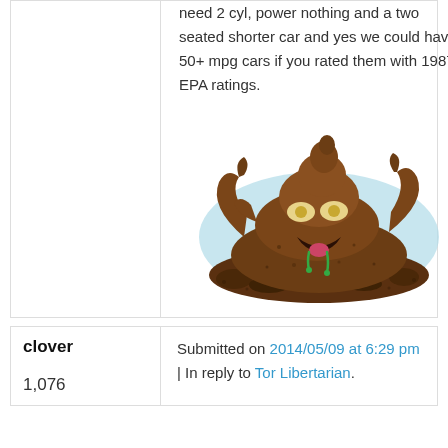need 2 cyl, power nothing and a two seated shorter car and yes we could have 50+ mpg cars if you rated them with 1987 EPA ratings.
[Figure (illustration): Cartoon illustration of an angry poop monster character with eyes, open mouth with tongue, and arms, on a light blue background.]
clover
1,076
Submitted on 2014/05/09 at 6:29 pm | In reply to Tor Libertarian.